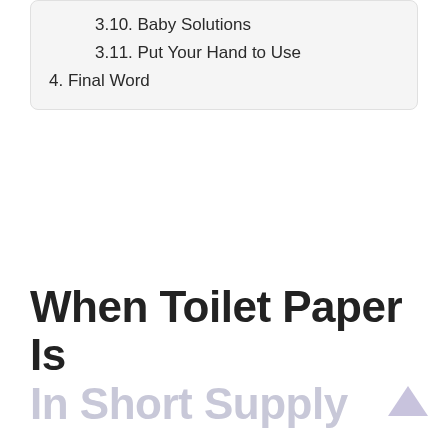3.10. Baby Solutions
3.11. Put Your Hand to Use
4. Final Word
When Toilet Paper Is In Short Supply